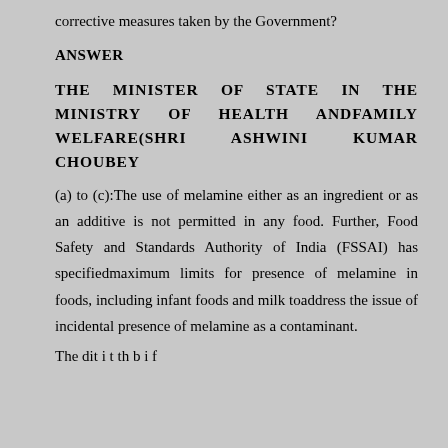corrective measures taken by the Government?
ANSWER
THE MINISTER OF STATE IN THE MINISTRY OF HEALTH ANDFAMILY WELFARE(SHRI ASHWINI KUMAR CHOUBEY
(a) to (c):The use of melamine either as an ingredient or as an additive is not permitted in any food. Further, Food Safety and Standards Authority of India (FSSAI) has specifiedmaximum limits for presence of melamine in foods, including infant foods and milk toaddress the issue of incidental presence of melamine as a contaminant.
Thedit i t th b i f